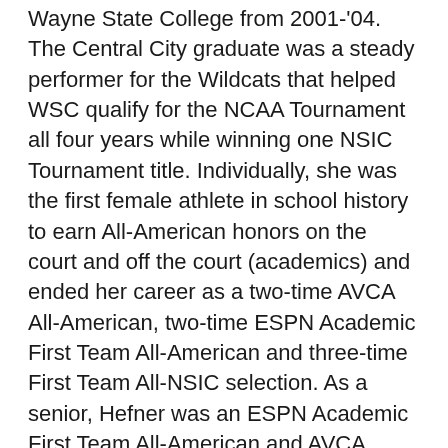Wayne State College from 2001-'04. The Central City graduate was a steady performer for the Wildcats that helped WSC qualify for the NCAA Tournament all four years while winning one NSIC Tournament title. Individually, she was the first female athlete in school history to earn All-American honors on the court and off the court (academics) and ended her career as a two-time AVCA All-American, two-time ESPN Academic First Team All-American and three-time First Team All-NSIC selection. As a senior, Hefner was an ESPN Academic First Team All-American and AVCA Second Team All-American after averaging 3.38 kills and 1.13 blocks per set. She was First Team All-NSIC for a third straight season and ranked third in the NSIC in blocks, fourth in points per set, seventh in kills per set and eighth in hitting percentage (.331) while also helping WSC to a pair of #1 national rankings during the season. Hefner also